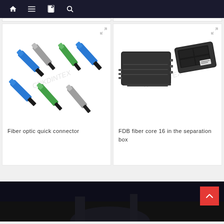Navigation bar with home, menu, document, and search icons
[Figure (photo): Multiple fiber optic quick connectors in blue and green colors arranged diagonally on white background, with CNKDINTEX watermark]
Fiber optic quick connector
[Figure (photo): FDB fiber distribution box in black, shown open and closed, with CNKDINTEX watermark]
FDB fiber core 16 in the separation box
[Figure (photo): Dark bottom banner image with partial product/scene view]